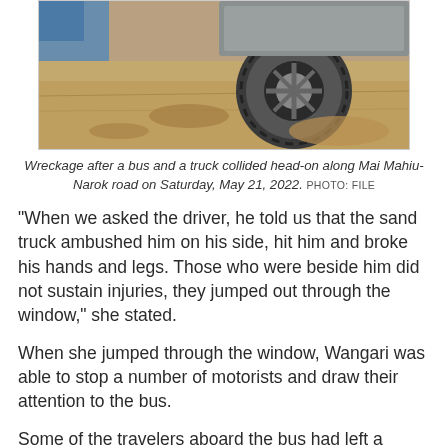[Figure (photo): Partial view of wreckage after a bus and truck collision — close-up of a vehicle wheel and muddy ground]
Wreckage after a bus and a truck collided head-on along Mai Mahiu-Narok road on Saturday, May 21, 2022. PHOTO: FILE
"When we asked the driver, he told us that the sand truck ambushed him on his side, hit him and broke his hands and legs. Those who were beside him did not sustain injuries, they jumped out through the window," she stated.
When she jumped through the window, Wangari was able to stop a number of motorists and draw their attention to the bus.
Some of the travelers aboard the bus had left a burial event of their kin in Kisii County and were headed back home to Naivasha.